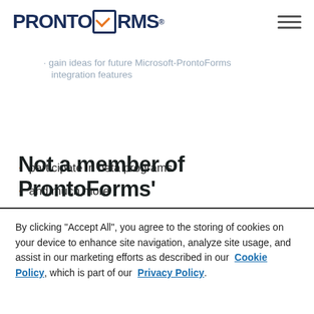PRONTOFORMS [logo]
share use cases and workflows
gain ideas for future Microsoft-ProntoForms integration features
participate in beta programs
and much more
The sky’s the limit with what you can do with other ProntoForms’ Microsoft User Group members. And we’re just getting started. Stay tuned for additional groups on a variety of themes in the future.
Not a member of ProntoForms’
By clicking “Accept All”, you agree to the storing of cookies on your device to enhance site navigation, analyze site usage, and assist in our marketing efforts as described in our Cookie Policy, which is part of our Privacy Policy.